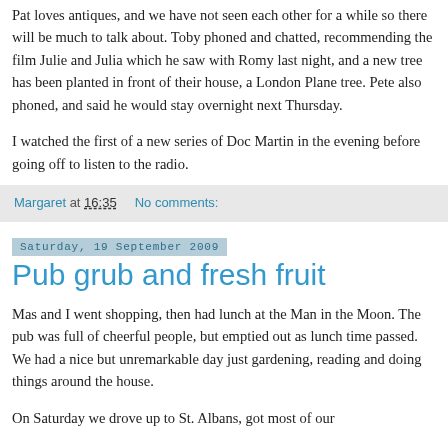Pat loves antiques, and we have not seen each other for a while so there will be much to talk about. Toby phoned and chatted, recommending the film Julie and Julia which he saw with Romy last night, and a new tree has been planted in front of their house, a London Plane tree. Pete also phoned, and said he would stay overnight next Thursday.
I watched the first of a new series of Doc Martin in the evening before going off to listen to the radio.
Margaret at 16:35    No comments:
Saturday, 19 September 2009
Pub grub and fresh fruit
Mas and I went shopping, then had lunch at the Man in the Moon. The pub was full of cheerful people, but emptied out as lunch time passed. We had a nice but unremarkable day just gardening, reading and doing things around the house.
On Saturday we drove up to St. Albans, got most of our